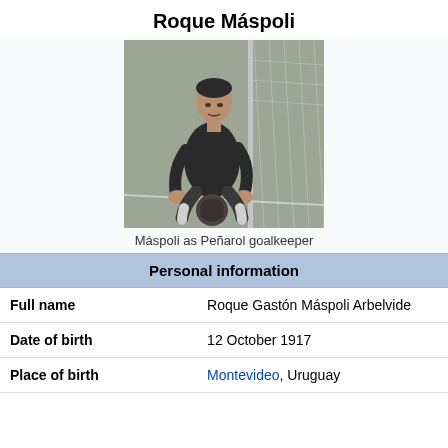Roque Máspoli
[Figure (photo): Black and white photo of Roque Máspoli crouching as Peñarol goalkeeper on a grass field with a football net behind him]
Máspoli as Peñarol goalkeeper
| Personal information |  |
| --- | --- |
| Full name | Roque Gastón Máspoli Arbelvide |
| Date of birth | 12 October 1917 |
| Place of birth | Montevideo, Uruguay |